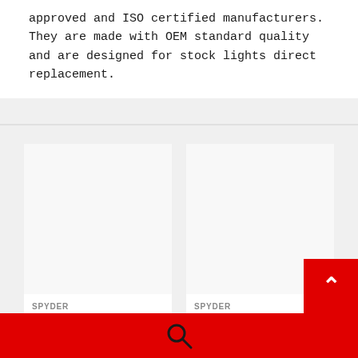approved and ISO certified manufacturers. They are made with OEM standard quality and are designed for stock lights direct replacement.
[Figure (photo): Product card for Spyder 08-14 Subara Impreza WRX Hatchback LED Tail Lights Seq Signal Black - left card, image area is blank/white]
SPYDER
Spyder 08-14 Subara Impreza WRX Hatchback LED Tail Lights Seq Signal Bl...
[Figure (photo): Product card for Spyder 08-14 Subara Impreza WRX Hatchback LED Tail Lights Seq Signal - right card, image area is blank/white]
SPYDER
Spyder 08-14 Subara Impreza WRX Hatchba... LED Tail Lights Seq Sign... Bl... Smoke ALT-YD...